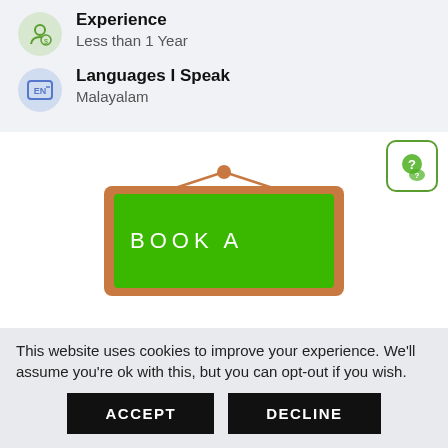Experience
Less than 1 Year
Languages I Speak
Malayalam
[Figure (illustration): A green chalkboard hanging from a string with text BOOK A on it, with an orange/brown wooden frame]
About Me
Myself Meetu, as an undergraduate student I am very much interested in sharing what I've learnt
This website uses cookies to improve your experience. We'll assume you're ok with this, but you can opt-out if you wish.